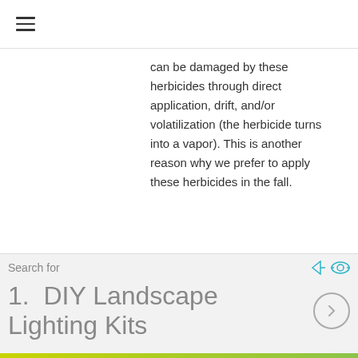☰
can be damaged by these herbicides through direct application, drift, and/or volatilization (the herbicide turns into a vapor). This is another reason why we prefer to apply these herbicides in the fall.
BEAVERLANDSCAPING
[Figure (other): Advertisement banner: Search for DIY Landscape Lighting Kits with navigation arrow]
Reply